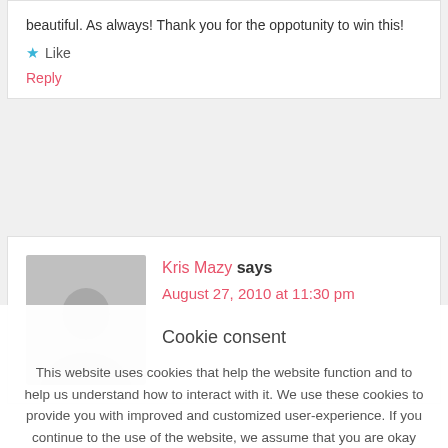beautiful. As always! Thank you for the oppotunity to win this!
★ Like
Reply
Kris Mazy says
August 27, 2010 at 11:30 pm
Cookie consent
This website uses cookies that help the website function and to help us understand how to interact with it. We use these cookies to provide you with improved and customized user-experience. If you continue to the use of the website, we assume that you are okay with it. More
GOT IT